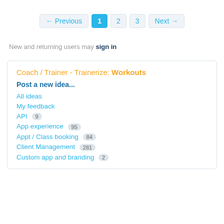← Previous  1  2  3  Next →
New and returning users may sign in
Coach / Trainer - Trainerize: Workouts
Post a new idea...
All ideas
My feedback
API  9
App experience  95
Appt / Class booking  84
Client Management  281
Custom app and branding  2